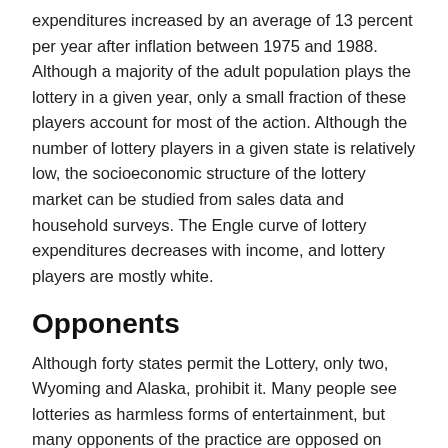expenditures increased by an average of 13 percent per year after inflation between 1975 and 1988. Although a majority of the adult population plays the lottery in a given year, only a small fraction of these players account for most of the action. Although the number of lottery players in a given state is relatively low, the socioeconomic structure of the lottery market can be studied from sales data and household surveys. The Engle curve of lottery expenditures decreases with income, and lottery players are mostly white.
Opponents
Although forty states permit the Lottery, only two, Wyoming and Alaska, prohibit it. Many people see lotteries as harmless forms of entertainment, but many opponents of the practice are opposed on moral and religious grounds. They argue that lotteries encourage greed and overspending, two negative traits that have a negative impact on the general welfare. The good news is that there are alternatives to the Lottery. Read